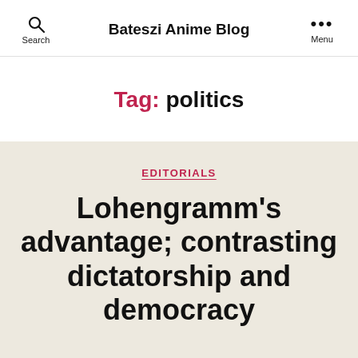Search | Bateszi Anime Blog | Menu
Tag: politics
EDITORIALS
Lohengramm's advantage; contrasting dictatorship and democracy